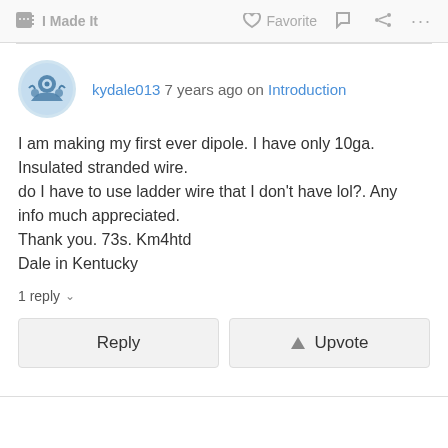I Made It   Favorite   ... ...
kydale013 7 years ago on Introduction

I am making my first ever dipole. I have only 10ga. Insulated stranded wire.
do I have to use ladder wire that I don't have lol?. Any info much appreciated.
Thank you. 73s. Km4htd
Dale in Kentucky

1 reply
Reply   Upvote